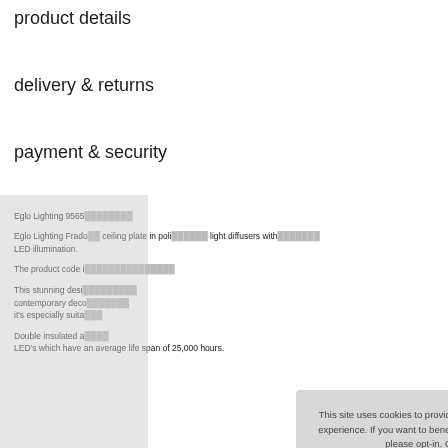product details
delivery & returns
payment & security
Eglo Lighting 9565...
Eglo Lighting Frado... ceiling plate in poli... light diffusers with... LED illumination.
The product code i...
This stunning desi... contemporary deco... it's especially suita...
Double insulated a... LED's which have an average life span of 25,000 hours.
[Figure (screenshot): Cookie consent popup overlay with text 'This site uses cookies to provide and improve your shopping experience. If you want to benefit from this improved service, please opt-in. Cookies Page.' and buttons 'I opt-in to a better browsing experience' and 'accept cookies']